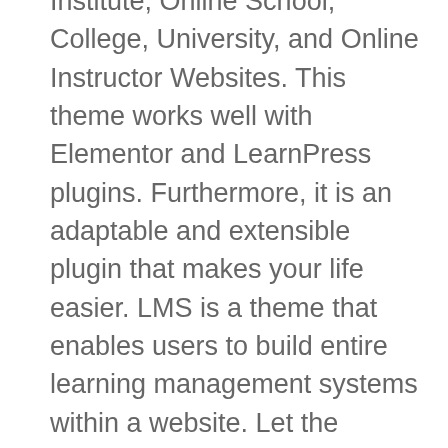Institute, Online School, College, University, and Online Instructor Websites. This theme works well with Elementor and LearnPress plugins. Furthermore, it is an adaptable and extensible plugin that makes your life easier. LMS is a theme that enables users to build entire learning management systems within a website. Let the students come and the learning commence, with UOCE! If you're ready to make a difference, do it in style with Kalvi Education. LMS aims at giving the full functions for the owner to manage the page with 100% of efficiency. WordPress LMS, Learning Management System for WordPress, WordPress Education theme built on BuddyPress. Obsessed with application performance, user experience and simplicity. With the integration of the innovative WooCommerce, site owners can establish reliable online stores. WP Education has 2 homepages and headers and it is widget ready. The Education LMS theme supports powerful options like custom menu, logo, featured slider, social icons and more. This theme tries to accommodate both customers and their website users. This is a premium theme with several price ranges. The theme developers incorporated Russian and French translation files in the download pack. LearnPress works with any